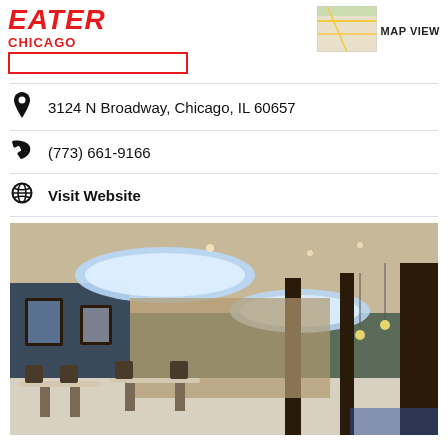EATER CHICAGO
MAP VIEW
3124 N Broadway, Chicago, IL 60657
(773) 661-9166
Visit Website
[Figure (photo): Interior of a restaurant with oval skylights emitting blue light on ceiling, dark columns, pendant lights, tables and chairs, and a bar area in background.]